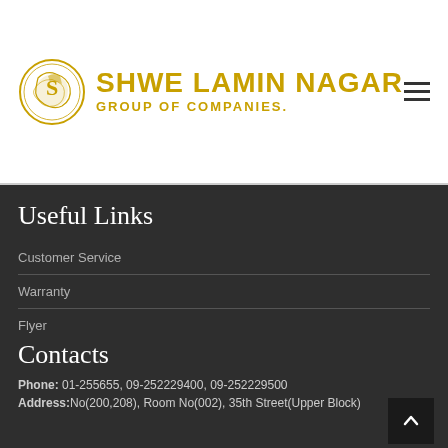[Figure (logo): Shwe Lamin Nagar Group of Companies logo with circular dragon emblem and gold text]
Useful Links
Customer Service
Warranty
Flyer
Promotions
Contacts
Phone: 01-255655, 09-252229400, 09-252229500
Address: No(200,208), Room No(002), 35th Street(Upper Block)